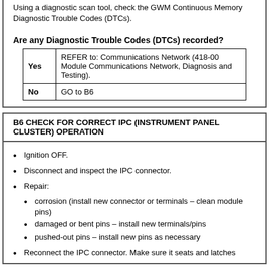Using a diagnostic scan tool, check the GWM Continuous Memory Diagnostic Trouble Codes (DTCs).
Are any Diagnostic Trouble Codes (DTCs) recorded?
|  |  |
| --- | --- |
| Yes | REFER to: Communications Network (418-00 Module Communications Network, Diagnosis and Testing). |
| No | GO to B6 |
B6 CHECK FOR CORRECT IPC (INSTRUMENT PANEL CLUSTER) OPERATION
Ignition OFF.
Disconnect and inspect the IPC connector.
Repair:
corrosion (install new connector or terminals – clean module pins)
damaged or bent pins – install new terminals/pins
pushed-out pins – install new pins as necessary
Reconnect the IPC connector. Make sure it seats and latches